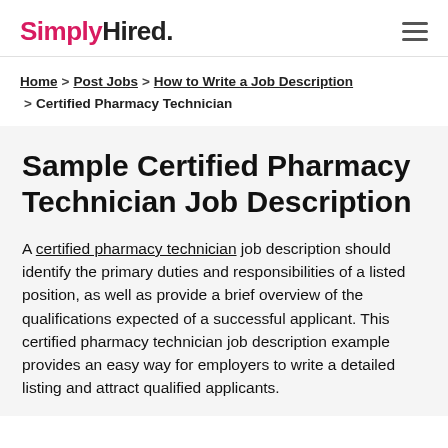SimplyHired.
Home > Post Jobs > How to Write a Job Description > Certified Pharmacy Technician
Sample Certified Pharmacy Technician Job Description
A certified pharmacy technician job description should identify the primary duties and responsibilities of a listed position, as well as provide a brief overview of the qualifications expected of a successful applicant. This certified pharmacy technician job description example provides an easy way for employers to write a detailed listing and attract qualified applicants.